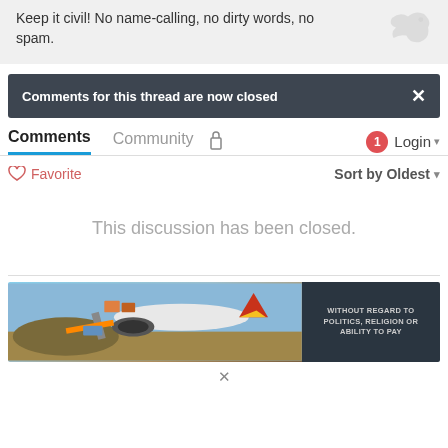Keep it civil! No name-calling, no dirty words, no spam.
Comments for this thread are now closed
Comments   Community   🔒   1   Login
♡ Favorite   Sort by Oldest
This discussion has been closed.
[Figure (photo): Advertisement banner showing cargo being loaded onto an airplane with text 'WITHOUT REGARD TO POLITICS, RELIGION OR ABILITY TO PAY']
×